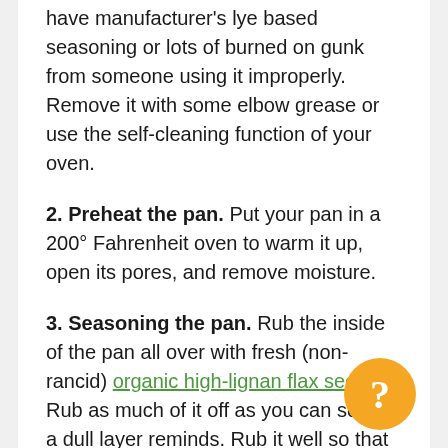have manufacturer's lye based seasoning or lots of burned on gunk from someone using it improperly. Remove it with some elbow grease or use the self-cleaning function of your oven.
2. Preheat the pan. Put your pan in a 200° Fahrenheit oven to warm it up, open its pores, and remove moisture.
3. Seasoning the pan. Rub the inside of the pan all over with fresh (non-rancid) organic high-lignan flax seed oil. Rub as much of it off as you can so only a dull layer reminds. Rub it well so that you remove as much as you can (no, I'm not kidding). Now bake upside down in a 400 to 500 degree Fahrenheit oven for 1 hour. Turn off the oven and let the pan